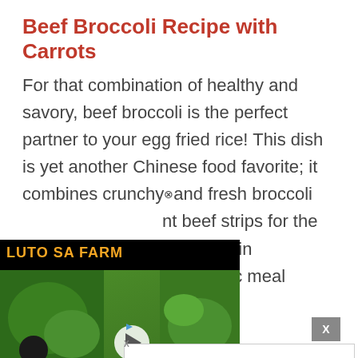Beef Broccoli Recipe with Carrots
For that combination of healthy and savory, beef broccoli is the perfect partner to your egg fried rice! This dish is yet another Chinese food favorite; it combines crunchy and fresh broccoli and tender beef strips for the sauce will mix in this classic meal. Dod some come
[Figure (screenshot): Embedded video thumbnail showing 'LUTO SA FARM' cooking channel with a play button, host on left, food plates on right, green background]
[Figure (screenshot): Advertisement banner: 'We Serve Desserts in a Casual & Cozy Atmosphere.' with navigation arrow icon]